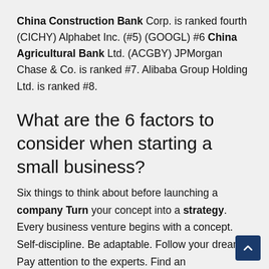China Construction Bank Corp. is ranked fourth (CICHY) Alphabet Inc. (#5) (GOOGL) #6 China Agricultural Bank Ltd. (ACGBY) JPMorgan Chase & Co. is ranked #7. Alibaba Group Holding Ltd. is ranked #8.
What are the 6 factors to consider when starting a small business?
Six things to think about before launching a company Turn your concept into a strategy. Every business venture begins with a concept. Self-discipline. Be adaptable. Follow your dreams. Pay attention to the experts. Find an